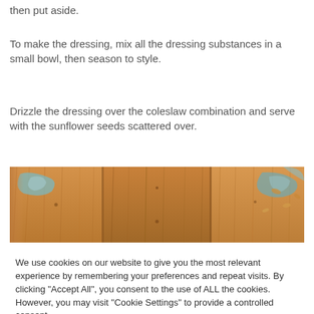then put aside.
To make the dressing, mix all the dressing substances in a small bowl, then season to style.
Drizzle the dressing over the coleslaw combination and serve with the sunflower seeds scattered over.
[Figure (photo): Close-up photo of a rustic wooden surface with peeling blue/teal paint, warm golden-brown wood grain, appearing to be an old weathered table or board with some food particles scattered on it.]
We use cookies on our website to give you the most relevant experience by remembering your preferences and repeat visits. By clicking "Accept All", you consent to the use of ALL the cookies. However, you may visit "Cookie Settings" to provide a controlled consent.